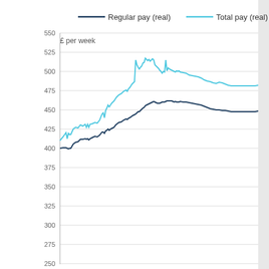[Figure (continuous-plot): Line chart showing Regular pay (real) in dark blue and Total pay (real) in light blue, both measured in £ per week, over time. Both series trend upward from around 2000, with Total pay peaking around 525 and Regular pay around 475, then slightly declining toward recent years.]